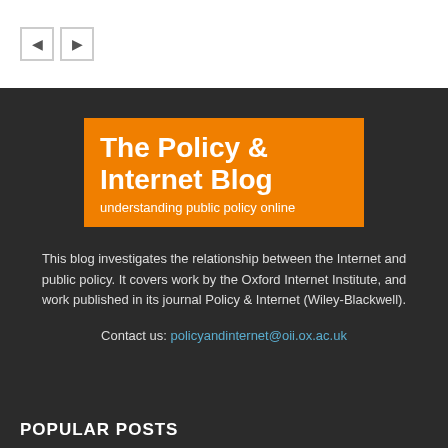◀ ▶
[Figure (logo): The Policy & Internet Blog logo — orange rectangle with white bold title text 'The Policy & Internet Blog' and subtitle 'understanding public policy online']
This blog investigates the relationship between the Internet and public policy. It covers work by the Oxford Internet Institute, and work published in its journal Policy & Internet (Wiley-Blackwell).
Contact us: policyandinternet@oii.ox.ac.uk
POPULAR POSTS